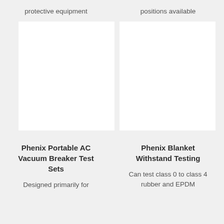protective equipment
positions available
[Figure (photo): White blank product image placeholder, left column]
[Figure (photo): White blank product image placeholder, right column]
Phenix Portable AC Vacuum Breaker Test Sets
Phenix Blanket Withstand Testing
Designed primarily for
Can test class 0 to class 4 rubber and EPDM